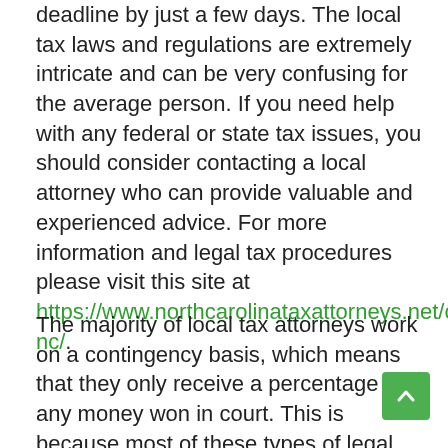deadline by just a few days. The local tax laws and regulations are extremely intricate and can be very confusing for the average person. If you need help with any federal or state tax issues, you should consider contacting a local attorney who can provide valuable and experienced advice. For more information and legal tax procedures please visit this site at https://www.northcarolinataxattorneys.net/charlotte-nc/.
The majority of local tax attorneys work on a contingency basis, which means that they only receive a percentage of any money won in court. This is because most of these types of legal issues usually involve huge amounts of money and many legal cases can last years before the courts decide and settle. Therefore, the very fees a law receives are usually small compared to the large legal involved in resolving these types of legal issues.